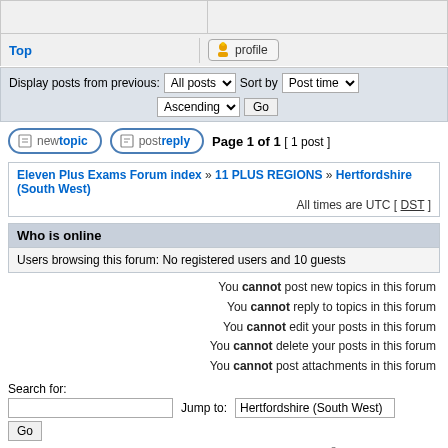|  |  |
| --- | --- |
| Top | [profile button] |
Display posts from previous: All posts  Sort by  Post time
Ascending  Go
[Figure (screenshot): New topic and Post reply buttons with page info: Page 1 of 1 [ 1 post ]]
Eleven Plus Exams Forum index » 11 PLUS REGIONS » Hertfordshire (South West)
All times are UTC [ DST ]
Who is online
Users browsing this forum: No registered users and 10 guests
You cannot post new topics in this forum
You cannot reply to topics in this forum
You cannot edit your posts in this forum
You cannot delete your posts in this forum
You cannot post attachments in this forum
Search for:
Jump to: Hertfordshire (South West)
Go
Privacy Policy | Refund Policy | Disclaimer | Copyright © 2004 – 2022